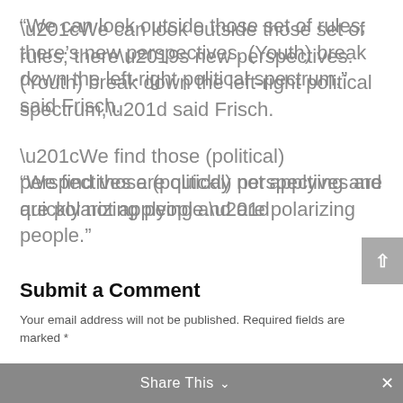“We can look outside those set of rules; there’s new perspectives. (Youth) break down the left-right political spectrum,” said Frisch.
“We find those (political) perspectives are quickly not applying and are polarizing people.”
Submit a Comment
Your email address will not be published. Required fields are marked *
Comment *
Share This